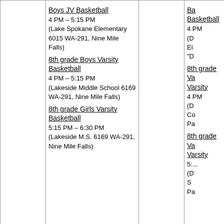| (blank) | Boys JV Basketball
4 PM – 5:15 PM (Lake Spokane Elementary 6015 WA-291, Nine Mile Falls)
8th grade Boys Varsity Basketball
4 PM – 5:15 PM (Lakeside Middle School 6169 WA-291, Nine Mile Falls)
8th grade Girls Varsity Basketball
5:15 PM – 6:30 PM (Lakeside M.S. 6169 WA-291, Nine Mile Falls) | (blank) | Ba...
4 PM...
(D...
El...
"D...
8th...
Va...
4 PM...
(D...
Co...
Pa...
8th...
Va...
5:...
(D...
S...
Pa... |
| 27 | 28 8th grade Boys JV Basketball
4 PM – 5:15 PM (Fort Colville Elementary 1212 E Ivy Ave, Colville)
8th grade Boys... | 29 8th grade Boys JV Basketball
5 PM – 6:15 PM (MLMS Aux. Gym)
8th grade Boys Varsity Basketball
5 PM – 6:15 PM |  |